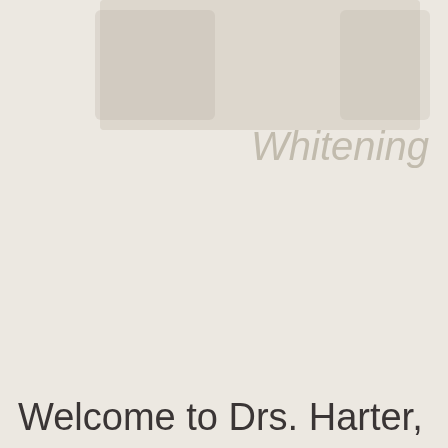[Figure (photo): Faded/blurred background image related to teeth whitening, showing product packaging or dental imagery with the word 'Whitening' visible in muted gray text]
Welcome to Drs. Harter,